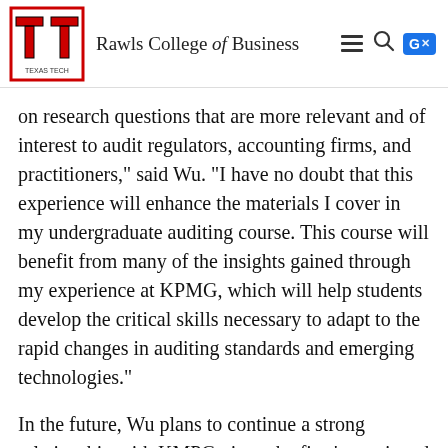Rawls College of Business
on research questions that are more relevant and of interest to audit regulators, accounting firms, and practitioners," said Wu. "I have no doubt that this experience will enhance the materials I cover in my undergraduate auditing course. This course will benefit from many of the insights gained through my experience at KPMG, which will help students develop the critical skills necessary to adapt to the rapid changes in auditing standards and emerging technologies."
In the future, Wu plans to continue a strong relationship with KMPG given the firm's continued support of academic research and her